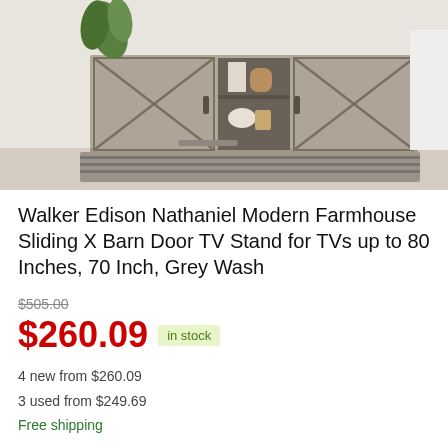[Figure (photo): Walker Edison Nathaniel Modern Farmhouse Sliding X Barn Door TV Stand in Grey Wash finish, showing the furniture with open center shelving displaying decorative items, against a light gray interior background with a striped rug on the floor.]
Walker Edison Nathaniel Modern Farmhouse Sliding X Barn Door TV Stand for TVs up to 80 Inches, 70 Inch, Grey Wash
$505.00 (strikethrough original price)
$260.09 in stock
4 new from $260.09
3 used from $249.69
Free shipping